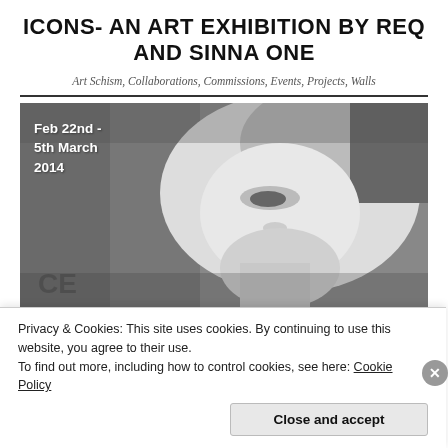ICONS- AN ART EXHIBITION BY REQ AND SINNA ONE
Art Schism, Collaborations, Commissions, Events, Projects, Walls
[Figure (photo): Black and white artwork photograph of a woman's face close-up with text overlay reading 'Feb 22nd - 5th March 2014']
Privacy & Cookies: This site uses cookies. By continuing to use this website, you agree to their use.
To find out more, including how to control cookies, see here: Cookie Policy
Close and accept